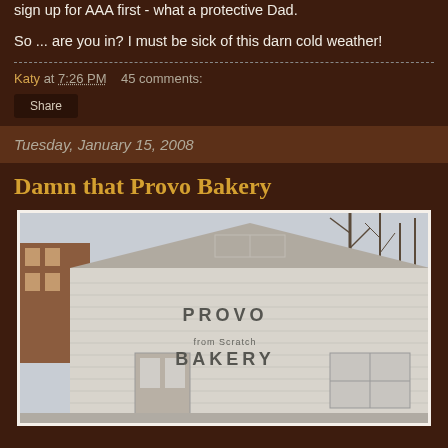sign up for AAA first - what a protective Dad.
So ... are you in? I must be sick of this darn cold weather!
Katy at 7:26 PM    45 comments:
Share
Tuesday, January 15, 2008
Damn that Provo Bakery
[Figure (photo): Exterior photo of Provo Bakery building, a white brick structure with 'PROVO BAKERY' painted on the front, bare trees visible in background, wintertime.]